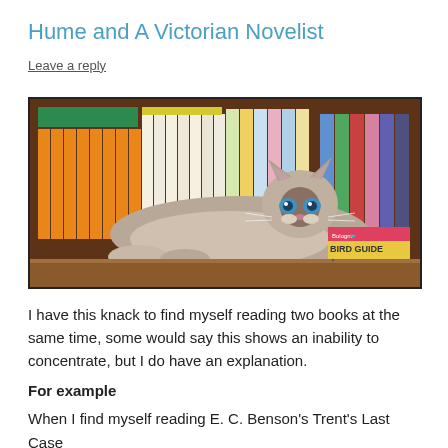Hume and A Victorian Novelist
Leave a reply
[Figure (photo): A Birman or Ragdoll cat with blue eyes lying on a wooden bookshelf in front of many colorful books. A Bologna Bird Guide book is visible in the lower right.]
I have this knack to find myself reading two books at the same time, some would say this shows an inability to concentrate, but I do have an explanation.
For example
When I find myself reading E. C. Benson's Trent's Last Case